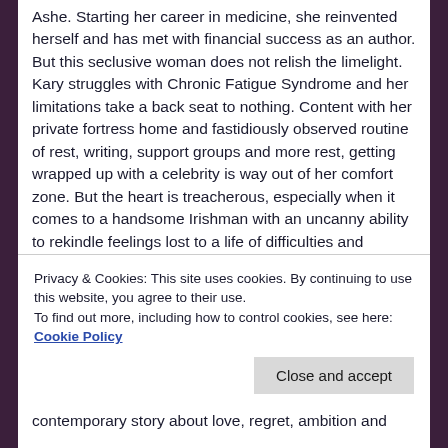Ashe. Starting her career in medicine, she reinvented herself and has met with financial success as an author. But this seclusive woman does not relish the limelight. Kary struggles with Chronic Fatigue Syndrome and her limitations take a back seat to nothing. Content with her private fortress home and fastidiously observed routine of rest, writing, support groups and more rest, getting wrapped up with a celebrity is way out of her comfort zone. But the heart is treacherous, especially when it comes to a handsome Irishman with an uncanny ability to rekindle feelings lost to a life of difficulties and heartbreak. And drama incarnate comes in the form of Bianca Doyle, a starlet with designs on expanding her resume. A cinematized New Hampshire town isn't ready for the
Privacy & Cookies: This site uses cookies. By continuing to use this website, you agree to their use.
To find out more, including how to control cookies, see here: Cookie Policy
contemporary story about love, regret, ambition and